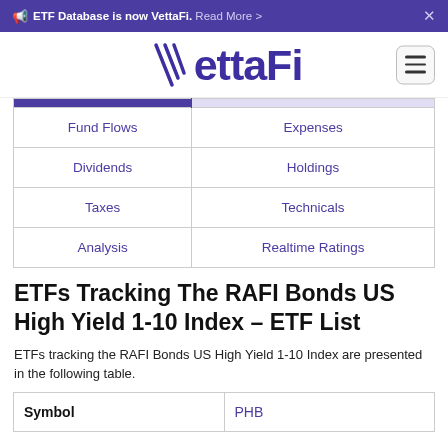ETF Database is now VettaFi. Read More >
[Figure (logo): VettaFi logo with stylized V and serif-like bold text]
| Fund Flows | Expenses |
| Dividends | Holdings |
| Taxes | Technicals |
| Analysis | Realtime Ratings |
ETFs Tracking The RAFI Bonds US High Yield 1-10 Index – ETF List
ETFs tracking the RAFI Bonds US High Yield 1-10 Index are presented in the following table.
| Symbol | PHB |
| --- | --- |